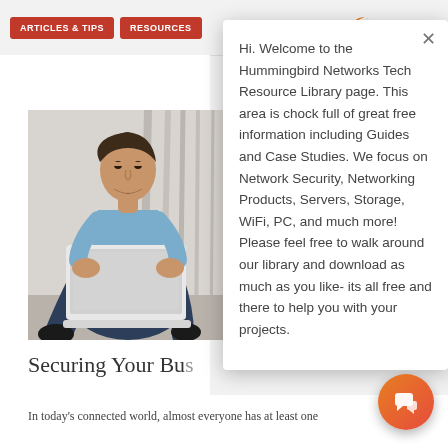ARTICLES & TIPS | RESOURCES
[Figure (photo): Man in business casual attire sitting cross-legged on a surface, working on a laptop computer]
Securing Your Bu...
Hi. Welcome to the Hummingbird Networks Tech Resource Library page. This area is chock full of great free information including Guides and Case Studies. We focus on Network Security, Networking Products, Servers, Storage, WiFi, PC, and much more! Please feel free to walk around our library and download as much as you like- its all free and there to help you with your projects.
In today's connected world, almost everyone has at least one